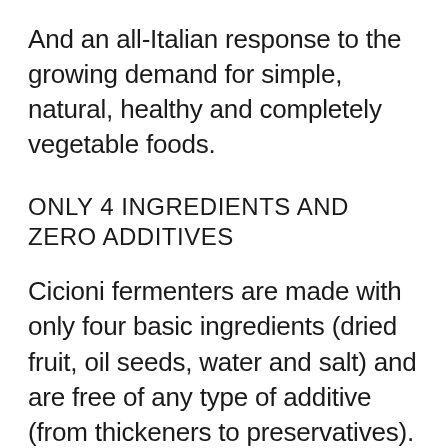And an all-Italian response to the growing demand for simple, natural, healthy and completely vegetable foods.
ONLY 4 INGREDIENTS AND ZERO ADDITIVES
Cicioni fermenters are made with only four basic ingredients (dried fruit, oil seeds, water and salt) and are free of any type of additive (from thickeners to preservatives). In addition to being organic and certified vegan, they are also suitable for celiacs and lactose intolerant as they do not contain gluten or milk